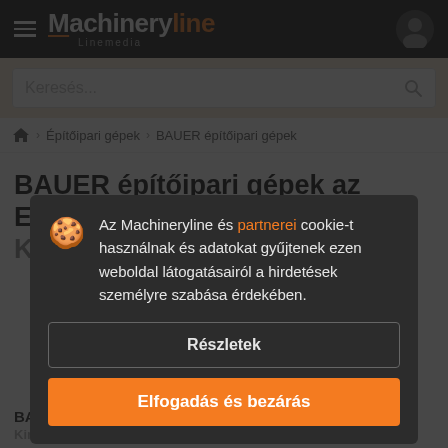Machineryline Linemedia
Keresés...
Építőipari gépek > BAUER építőipari gépek
BAUER építőipari gépek az Egyesült Királyságból
Az Machineryline és partnerei cookie-t használnak és adatokat gyűjtenek ezen weboldal látogatásairól a hirdetések személyre szabása érdekében.
Részletek
Elfogadás és bezárás
BAUER építőipari gépek az Egyesült Királyságból 30 hirdetés